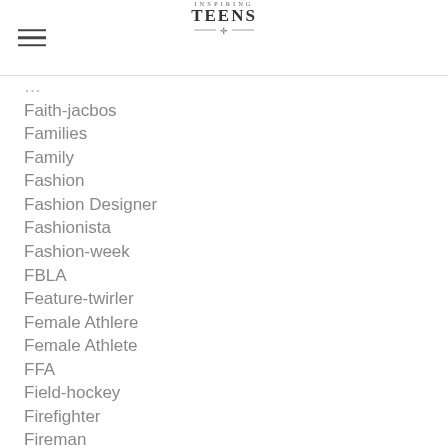Inspiring Teens
Faith-jacbos
Families
Family
Fashion
Fashion Designer
Fashionista
Fashion-week
FBLA
Feature-twirler
Female Athlere
Female Athlete
FFA
Field-hockey
Firefighter
Fireman
Florida
Food
Football